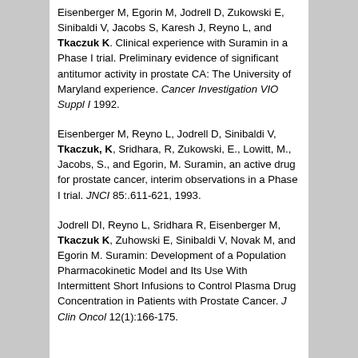Eisenberger M, Egorin M, Jodrell D, Zukowski E, Sinibaldi V, Jacobs S, Karesh J, Reyno L, and Tkaczuk K. Clinical experience with Suramin in a Phase I trial. Preliminary evidence of significant antitumor activity in prostate CA: The University of Maryland experience. Cancer Investigation VIO Suppl I 1992.
Eisenberger M, Reyno L, Jodrell D, Sinibaldi V, Tkaczuk, K, Sridhara, R, Zukowski, E., Lowitt, M., Jacobs, S., and Egorin, M. Suramin, an active drug for prostate cancer, interim observations in a Phase I trial. JNCI 85:.611-621, 1993.
Jodrell DI, Reyno L, Sridhara R, Eisenberger M, Tkaczuk K, Zuhowski E, Sinibaldi V, Novak M, and Egorin M. Suramin: Development of a Population Pharmacokinetic Model and Its Use With Intermittent Short Infusions to Control Plasma Drug Concentration in Patients with Prostate Cancer. J Clin Oncol 12(1):166-175.